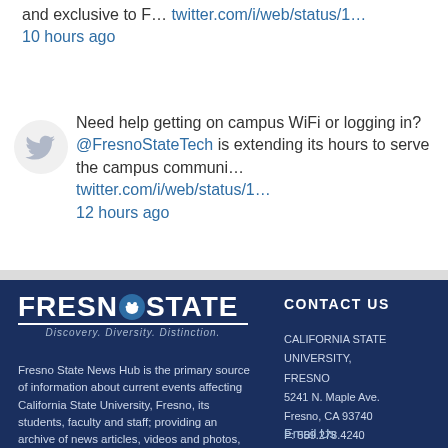and exclusive to F… twitter.com/i/web/status/1…
10 hours ago
Need help getting on campus WiFi or logging in? @FresnoStateTech is extending its hours to serve the campus communi… twitter.com/i/web/status/1… 12 hours ago
[Figure (logo): Fresno State logo with paw print and tagline: Discovery. Diversity. Distinction.]
Fresno State News Hub is the primary source of information about current events affecting California State University, Fresno, its students, faculty and staff; providing an archive of news articles, videos and photos,
CONTACT US
CALIFORNIA STATE UNIVERSITY, FRESNO
5241 N. Maple Ave.
Fresno, CA 93740
P: 559.278.4240
Email Us